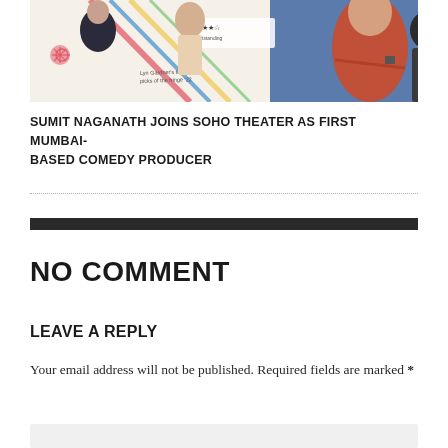[Figure (photo): Photo of people standing in front of a colorful theater poster/banner for a comedy show, including a man in a red polo shirt with arms crossed and a woman in dark clothing.]
SUMIT NAGANATH JOINS SOHO THEATER AS FIRST MUMBAI-BASED COMEDY PRODUCER
NO COMMENT
LEAVE A REPLY
Your email address will not be published. Required fields are marked *